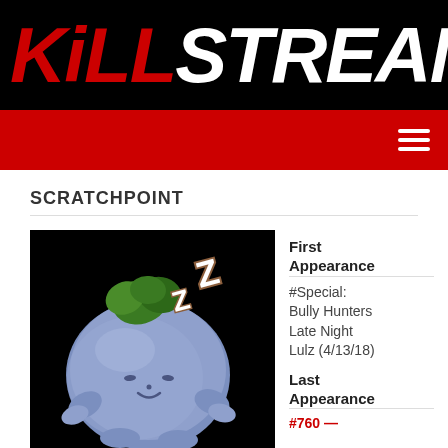KILLSTREAM
SCRATCHPOINT
[Figure (illustration): A sleeping blue round cartoon character with green leafy top, closed eyes, and small hands/feet. Has 'ZZ' sleep symbols floating above. Dark background.]
First Appearance
#Special: Bully Hunters Late Night Lulz (4/13/18)
Last Appearance
#760 —